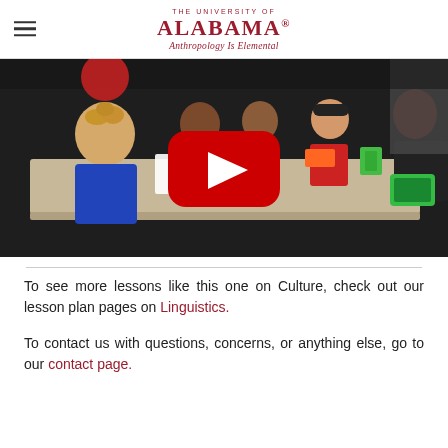THE UNIVERSITY OF ALABAMA® Anthropology Is Elemental
[Figure (screenshot): YouTube video thumbnail showing children sitting around a classroom table, with a YouTube play button overlay in the center.]
To see more lessons like this one on Culture, check out our lesson plan pages on Linguistics.
To contact us with questions, concerns, or anything else, go to our contact page.